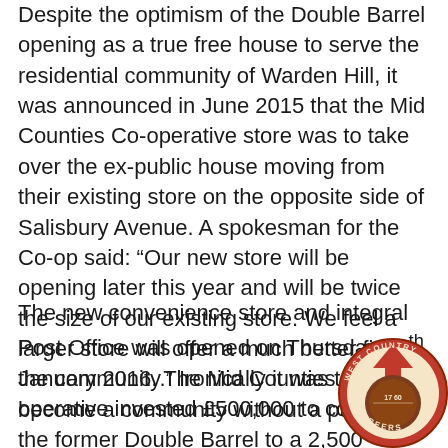Despite the optimism of the Double Barrel opening as a true free house to serve the residential community of Warden Hill, it was announced in June 2015 that the Mid Counties Co-operative store was to take over the ex-public house moving from their existing store on the opposite side of Salisbury Avenue. A spokesman for the Co-op said: “Our new store will be opening later this year and will be twice the size of our existing store. We feel a larger store will offer a much better fit for the community.” Ironically it was to become a community without a pub.
The new convenience store and integral Post Office was opened on Thursday 14th January 2016. The Mid Counties Co-operative invested £500,000 to convert the former Double Barrel to a 2,500 square feet store. The Gloucestershire Echo reported on 2nd January that the Co-op had announced that it had agreed with the Campaign for Real Ale (CAMRA) to develop a ‘set of principles for developing pub sites in’ to try and protect local pubs and had agreed not to stand in the way of community groups seeking to acquire and run a
[Figure (logo): West Country Beers circular logo with orange/red and brown colors]